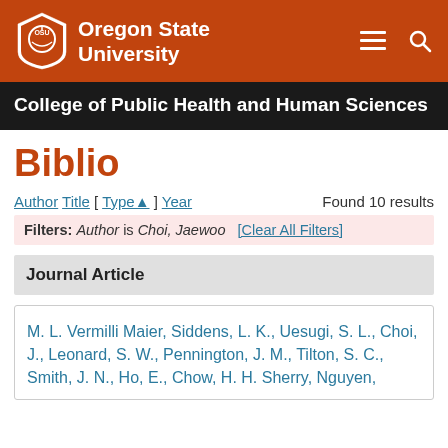Oregon State University
College of Public Health and Human Sciences
Biblio
Author Title [ Type▲ ] Year   Found 10 results
Filters: Author is Choi, Jaewoo [Clear All Filters]
Journal Article
M. L. Vermilli Maier, Siddens, L. K., Uesugi, S. L., Choi, J., Leonard, S. W., Pennington, J. M., Tilton, S. C., Smith, J. N., Ho, E., Chow, H. H. Sherry, Nguyen,